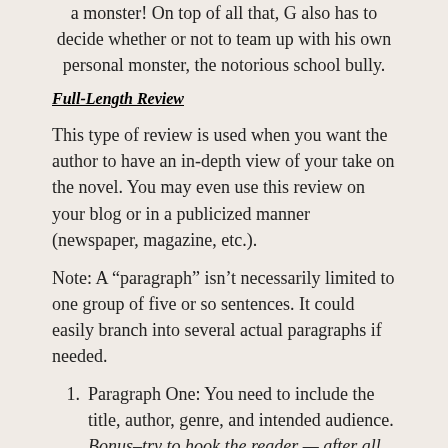a monster! On top of all that, G also has to decide whether or not to team up with his own personal monster, the notorious school bully.
Full-Length Review
This type of review is used when you want the author to have an in-depth view of your take on the novel. You may even use this review on your blog or in a publicized manner (newspaper, magazine, etc.).
Note: A “paragraph” isn’t necessarily limited to one group of five or so sentences. It could easily branch into several actual paragraphs if needed.
Paragraph One: You need to include the title, author, genre, and intended audience. Bonus–try to hook the reader — after all, you wrote a